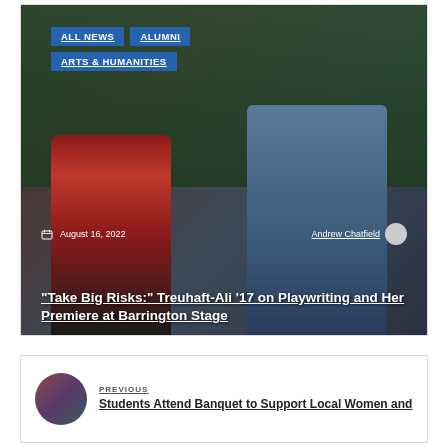[Figure (photo): Two students in a classroom in front of a chalkboard, one wearing a red plaid shirt and one wearing a blue plaid shirt with a backpack]
ALL NEWS
ALUMNI
ARTS & HUMANITIES
August 16, 2022
Andrew Chatfield
“Take Big Risks:” Treuhaft-Ali ’17 on Playwriting and Her Premiere at Barrington Stage
PREVIOUS
Students Attend Banquet to Support Local Women and